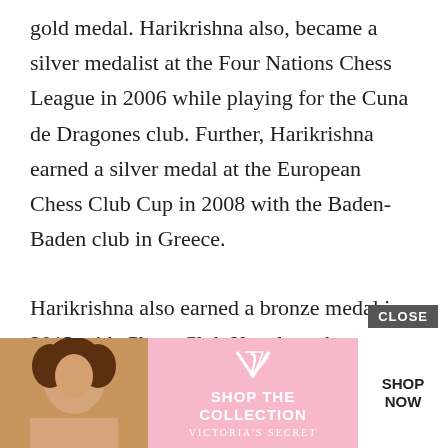gold medal. Harikrishna also, became a silver medalist at the Four Nations Chess League in 2006 while playing for the Cuna de Dragones club. Further, Harikrishna earned a silver medal at the European Chess Club Cup in 2008 with the Baden-Baden club in Greece.
Harikrishna also earned a bronze medal in 2013 with Chess Club Kavala and was a victor at the Greek League in 2008 and also a bronze medal with Elara club in the Russian League in 2008. Harikrishna gained victory in the China Chess League in 2009 with Shanghai Chess Club. Aside from that, Harikrishna clinched a bronze medal in 2010 during the Asian Tournaments in Guangzhou and became a bronze medalist at the World Team C... Harikr...
[Figure (other): Victoria's Secret advertisement overlay with CLOSE button, showing a woman with curly hair, Victoria's Secret logo, 'SHOP THE COLLECTION' text, and 'SHOP NOW' button]